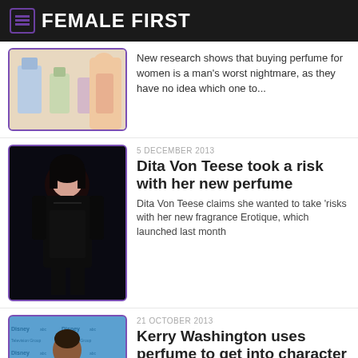FEMALE FIRST
New research shows that buying perfume for women is a man's worst nightmare, as they have no idea which one to...
5 DECEMBER 2013
Dita Von Teese took a risk with her new perfume
Dita Von Teese claims she wanted to take 'risks with her new fragrance Erotique, which launched last month
21 OCTOBER 2013
Kerry Washington uses perfume to get into character
Kerry Washington says perfume helps her get into character